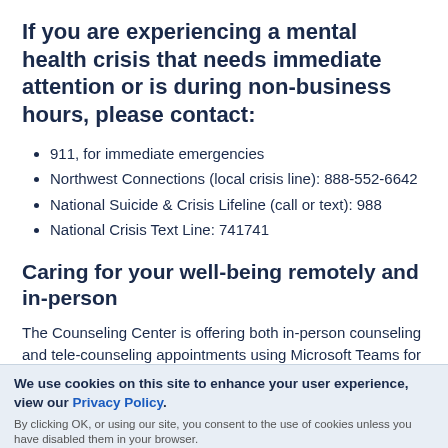If you are experiencing a mental health crisis that needs immediate attention or is during non-business hours, please contact:
911, for immediate emergencies
Northwest Connections (local crisis line): 888-552-6642
National Suicide & Crisis Lifeline (call or text): 988
National Crisis Text Line: 741741
Caring for your well-being remotely and in-person
The Counseling Center is offering both in-person counseling and tele-counseling appointments using Microsoft Teams for students residing in Wisconsin. All initial appointments will
We use cookies on this site to enhance your user experience, view our Privacy Policy.
By clicking OK, or using our site, you consent to the use of cookies unless you have disabled them in your browser.